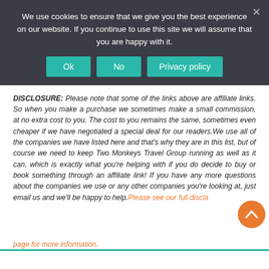We use cookies to ensure that we give you the best experience on our website. If you continue to use this site we will assume that you are happy with it.
DISCLOSURE: Please note that some of the links above are affiliate links. So when you make a purchase we sometimes make a small commission, at no extra cost to you. The cost to you remains the same, sometimes even cheaper if we have negotiated a special deal for our readers.We use all of the companies we have listed here and that's why they are in this list, but of course we need to keep Two Monkeys Travel Group running as well as it can, which is exactly what you're helping with if you do decide to buy or book something through an affiliate link! If you have any more questions about the companies we use or any other companies you're looking at, just email us and we'll be happy to help. Please see our full disclaimer page for more information.